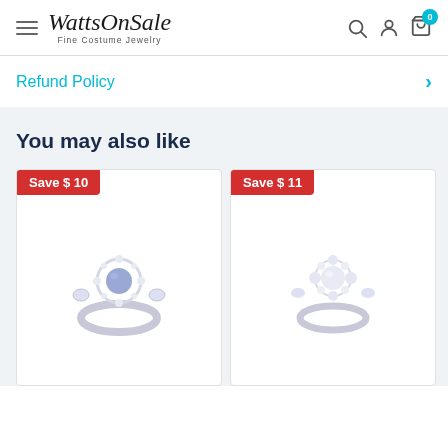WattsOnSale Fine Costume Jewelry
Refund Policy
You may also like
[Figure (photo): Blue sapphire halo ring with diamond accents, Save $10 badge]
[Figure (photo): White diamond cluster ring, Save $11 badge]